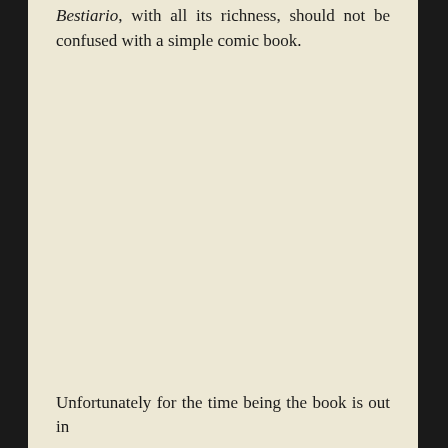Bestiario, with all its richness, should not be confused with a simple comic book.
Unfortunately for the time being the book is out in